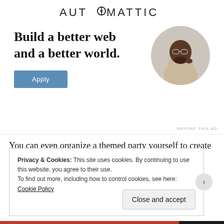[Figure (logo): Automattic logo with stylized compass/O in the wordmark]
Build a better web and a better world.
[Figure (photo): Circular cropped photo of a man in a beige shirt thinking/looking up]
Apply
REPORT THIS AD
You can even organize a themed party yourself to create another reason to dress up – and choose the theme of course! 😉
Privacy & Cookies: This site uses cookies. By continuing to use this website, you agree to their use.
To find out more, including how to control cookies, see here: Cookie Policy
Close and accept